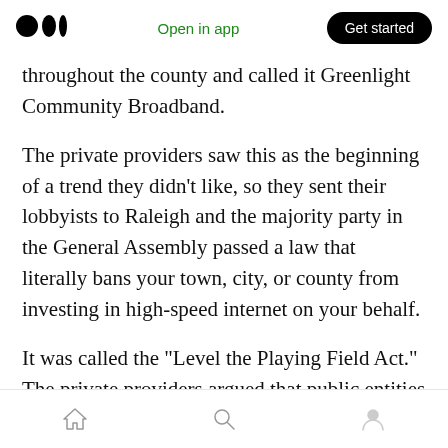Open in app | Get started
throughout the county and called it Greenlight Community Broadband.
The private providers saw this as the beginning of a trend they didn’t like, so they sent their lobbyists to Raleigh and the majority party in the General Assembly passed a law that literally bans your town, city, or county from investing in high-speed internet on your behalf.
It was called the “Level the Playing Field Act.” The private providers argued that public entities — like towns and counties — shouldn’t be
Navigation: Home, Search, Profile